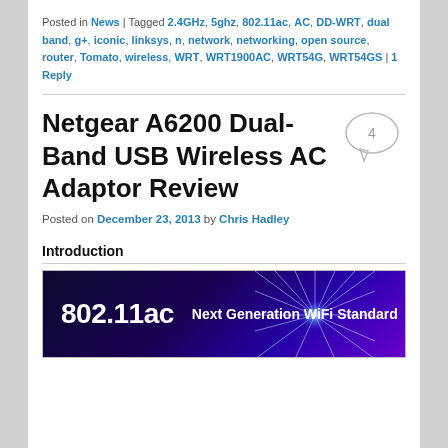Posted in News | Tagged 2.4GHz, 5ghz, 802.11ac, AC, DD-WRT, dual band, g+, iconic, linksys, n, network, networking, open source, router, Tomato, wireless, WRT, WRT1900AC, WRT54G, WRT54GS | 1 Reply
Netgear A6200 Dual-Band USB Wireless AC Adaptor Review
Posted on December 23, 2013 by Chris Hadley
Introduction
[Figure (photo): Dark background image with blue/purple light burst rays showing text '802.11ac' and 'Next Generation WiFi Standard']